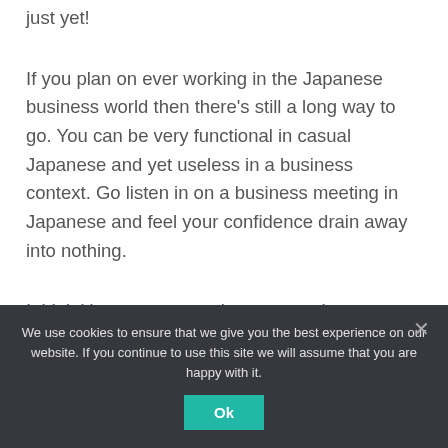just yet!
If you plan on ever working in the Japanese business world then there's still a long way to go. You can be very functional in casual Japanese and yet useless in a business context. Go listen in on a business meeting in Japanese and feel your confidence drain away into nothing.
I think it's not exaggerating to state that business Japanese is a distinct language of its own. It bears
We use cookies to ensure that we give you the best experience on our website. If you continue to use this site we will assume that you are happy with it.
Ok